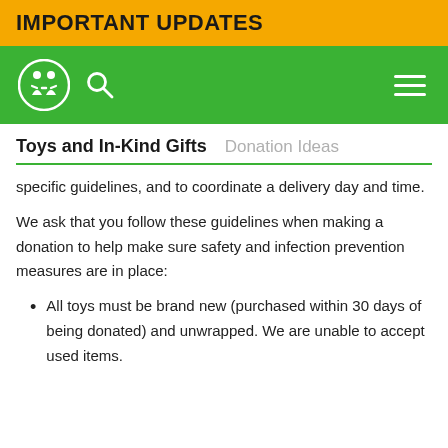IMPORTANT UPDATES
[Figure (logo): Green navigation bar with children's charity logo circle, search icon, and hamburger menu]
Toys and In-Kind Gifts   Donation Ideas
specific guidelines, and to coordinate a delivery day and time.
We ask that you follow these guidelines when making a donation to help make sure safety and infection prevention measures are in place:
All toys must be brand new (purchased within 30 days of being donated) and unwrapped. We are unable to accept used items.